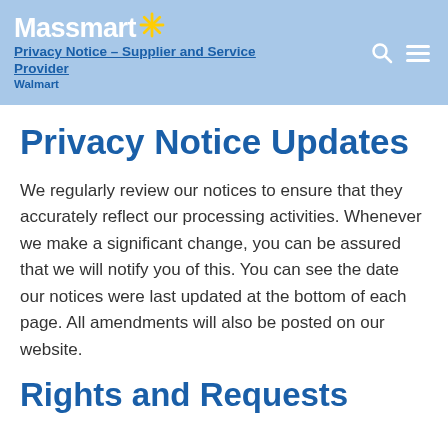Privacy Notice – Supplier and Service Provider | Walmart
Privacy Notice Updates
We regularly review our notices to ensure that they accurately reflect our processing activities. Whenever we make a significant change, you can be assured that we will notify you of this. You can see the date our notices were last updated at the bottom of each page. All amendments will also be posted on our website.
Rights and Requests